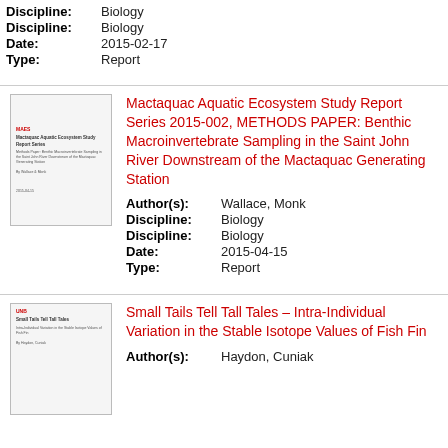Discipline: Biology
Discipline: Biology
Date: 2015-02-17
Type: Report
[Figure (other): Thumbnail image of a document cover page with MAES logo and title text]
Mactaquac Aquatic Ecosystem Study Report Series 2015-002, METHODS PAPER: Benthic Macroinvertebrate Sampling in the Saint John River Downstream of the Mactaquac Generating Station
Author(s): Wallace, Monk
Discipline: Biology
Discipline: Biology
Date: 2015-04-15
Type: Report
[Figure (other): Thumbnail image of a second document cover page]
Small Tails Tell Tall Tales – Intra-Individual Variation in the Stable Isotope Values of Fish Fin
Author(s): Haydon, Cuniak